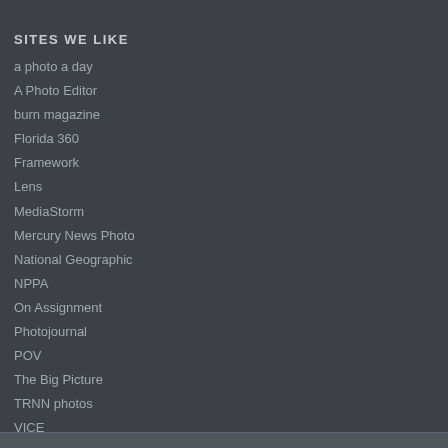SITES WE LIKE
a photo a day
A Photo Editor
burn magazine
Florida 360
Framework
Lens
MediaStorm
Mercury News Photo
National Geographic
NPPA
On Assignment
Photojournal
POV
The Big Picture
TRNN photos
VICE
VII
Washington Post